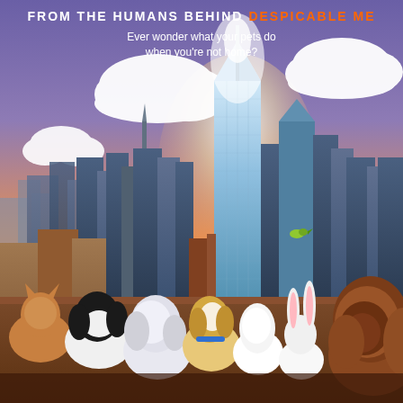FROM THE HUMANS BEHIND DESPICABLE ME
Ever wonder what your pets do when you're not home?
[Figure (illustration): Animated movie poster for 'The Secret Life of Pets'. Shows a colorful New York City skyline at sunset/golden hour with a tall glowing skyscraper (One World Trade Center) at center. White fluffy clouds dot a purple-blue and orange sky. In the foreground, several animated pets seen from behind look out over the city: a cat, a dog (black and white), a fluffy white dog, a Jack Russell terrier (Max) with a blue collar, a white fluffy creature, a white rabbit, and a large shaggy brown dog on the right. A small green bird flies near the right side of the skyline.]